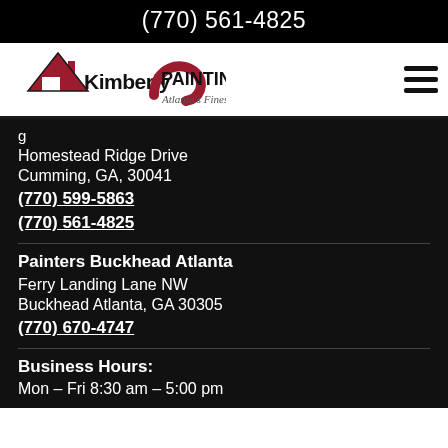(770) 561-4825
[Figure (logo): Kimberly Painting - Atlanta's Finest logo with red house/roof graphic and cursive swirl element]
Homestead Ridge Drive
Cumming, GA, 30041
(770) 599-5863
(770) 561-4825
Painters Buckhead Atlanta
Ferry Landing Lane NW
Buckhead Atlanta, GA 30305
(770) 670-4747
Business Hours:
Mon – Fri 8:30 am – 5:00 pm